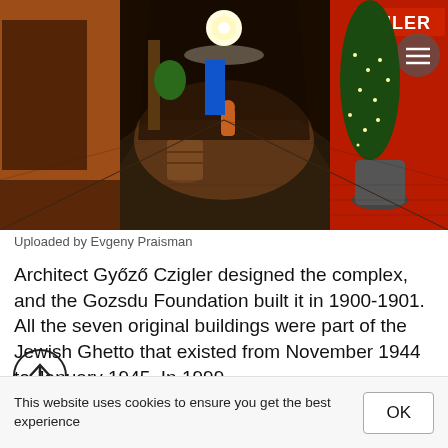[Figure (photo): Night-time view of an illuminated covered pedestrian passage or courtyard with shops and restaurants on both sides, Christmas lights on trees, a person walking away in the center, tiled floor, warm orange lighting. A 'SPICER' sign is visible in the top right corner.]
Uploaded by Evgeny Praisman
Architect Győző Czigler designed the complex, and the Gozsdu Foundation built it in 1900-1901. All the seven original buildings were part of the Jewish Ghetto that existed from November 1944 to January 1945. In 1999
This website uses cookies to ensure you get the best experience
OK